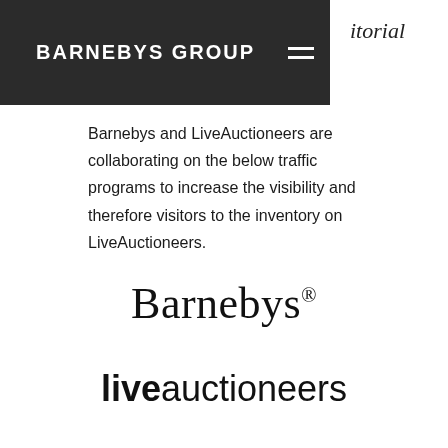BARNEBYS GROUP
itorial
Barnebys and LiveAuctioneers are collaborating on the below traffic programs to increase the visibility and therefore visitors to the inventory on LiveAuctioneers.
[Figure (logo): Barnebys logo in serif font with registered trademark symbol]
[Figure (logo): LiveAuctioneers logo with 'live' in bold sans-serif and 'auctioneers' in regular weight]